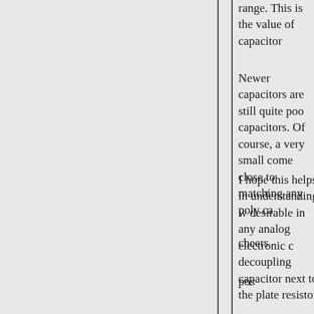range. This is the value of capacitor
Newer capacitors are still quite poor capacitors. Of course, a very small come close to matching any poly ca
I hope this helps in understanding w desirable in any analog electronic c decoupling
capacitor next to the plate resistor.
cheers
pos